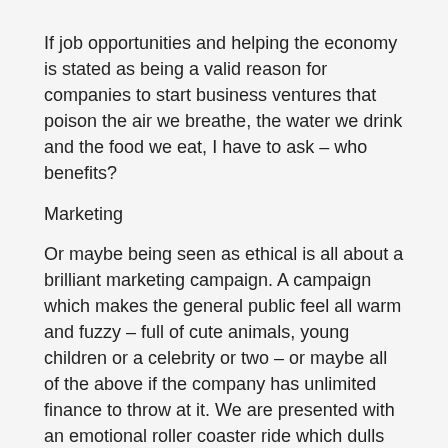If job opportunities and helping the economy is stated as being a valid reason for companies to start business ventures that poison the air we breathe, the water we drink and the food we eat, I have to ask – who benefits?
Marketing
Or maybe being seen as ethical is all about a brilliant marketing campaign. A campaign which makes the general public feel all warm and fuzzy – full of cute animals, young children or a celebrity or two – or maybe all of the above if the company has unlimited finance to throw at it. We are presented with an emotional roller coaster ride which dulls the senses and convinces people of its sincerity and authenticity, because it's just so darn pretty!
For example, the food and drink industries are money